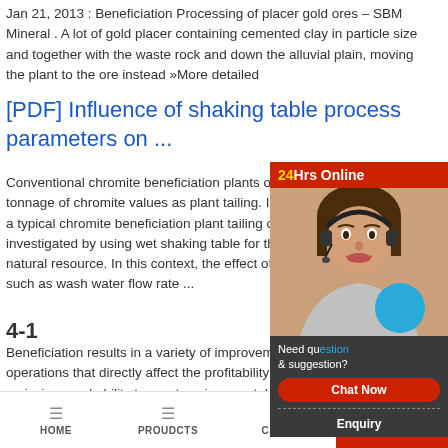Jan 21, 2013 : Beneficiation Processing of placer gold ores – SBM Mineral . A lot of gold placer containing cemented clay in particle size and together with the waste rock and down the alluvial plain, moving the plant to the ore instead »More detailed
[PDF] Influence of shaking table process parameters on ...
Conventional chromite beneficiation plants of India discard large tonnage of chromite values as plant tailing. In the present work, a typical chromite beneficiation plant tailing of Sukin... investigated by using wet shaking table for the effect... natural resource. In this context, the effect of different... such as wash water flow rate ...
4-1
Beneficiation results in a variety of improvements to operations that directly affect the profitability of a coal... emissions and ability to meet environmental requirements...
[Figure (photo): Customer service chat widget overlay showing a woman with a headset, '24Hrs Online' header in red with yellow text, 'Need question & suggestion?', 'Chat Now' button, and 'Enquiry' option]
HOME   PROUDCTS   CASES   limingjlmofen